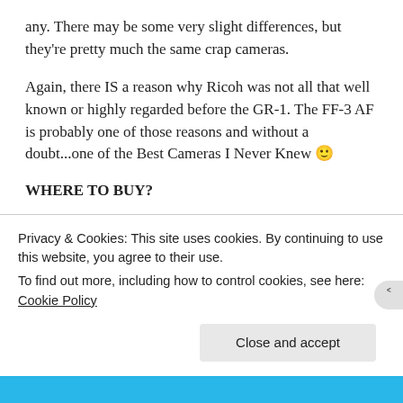any. There may be some very slight differences, but they're pretty much the same crap cameras.
Again, there IS a reason why Ricoh was not all that well known or highly regarded before the GR-1. The FF-3 AF is probably one of those reasons and without a doubt...one of the Best Cameras I Never Knew 🙂
WHERE TO BUY?
If seeking one of these cameras, and I'm not sure that's a good idea, prices are trending at $5-30 so the low prices [cut off]
Privacy & Cookies: This site uses cookies. By continuing to use this website, you agree to their use.
To find out more, including how to control cookies, see here: Cookie Policy